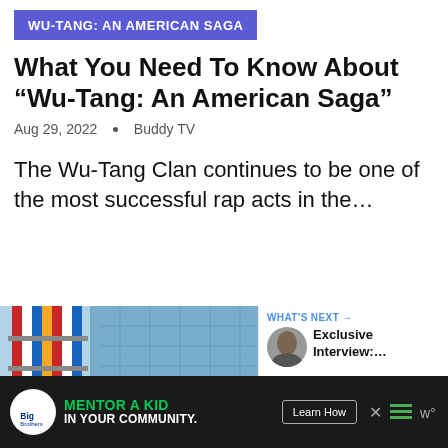WU-TANG: AN AMERICAN SAGA
What You Need To Know About “Wu-Tang: An American Saga”
Aug 29, 2022 • Buddy TV
The Wu-Tang Clan continues to be one of the most successful rap acts in the…
[Figure (photo): Photo collage showing a colorful striped tower/barber-pole building and a blue building, with an AMERICAN sign marquee in the foreground]
WHAT’S NEXT → Exclusive Interview:…
MENTOR A KID IN YOUR COMMUNITY.